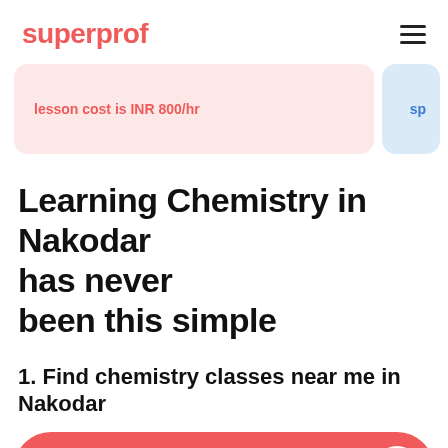superprof
lesson cost is INR 800/hr
Learning Chemistry in Nakodar has never been this simple
1. Find chemistry classes near me in Nakodar
What do you want to learn?